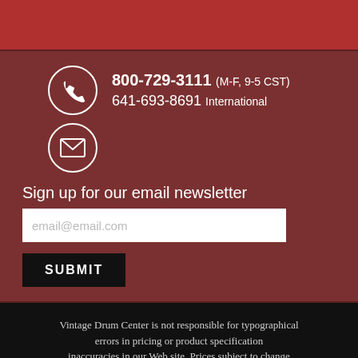[Figure (other): Dark red top banner bar]
800-729-3111 (M-F, 9-5 CST)
641-693-8691 International
[Figure (other): Email envelope icon in circle]
Sign up for our email newsletter
email@email.com
SUBMIT
Vintage Drum Center is not responsible for typographical errors in pricing or product specification inaccuracies in our Web site. Prices subject to change without notice.
Copyright ©2015 Vintage Drum Center. All rights reserved.
As seen on Yahoo, Lycos and DMOZ.